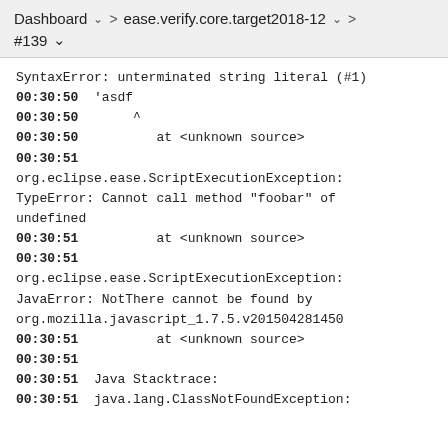Dashboard  >  ease.verify.core.target2018-12  >  #139
SyntaxError: unterminated string literal (#1)
00:30:50  'asdf
00:30:50       ^
00:30:50          at <unknown source>
00:30:51
org.eclipse.ease.ScriptExecutionException:
TypeError: Cannot call method "foobar" of undefined
00:30:51          at <unknown source>
00:30:51
org.eclipse.ease.ScriptExecutionException:
JavaError: NotThere cannot be found by org.mozilla.javascript_1.7.5.v201504281450
00:30:51          at <unknown source>
00:30:51
00:30:51  Java Stacktrace:
00:30:51  java.lang.ClassNotFoundException: